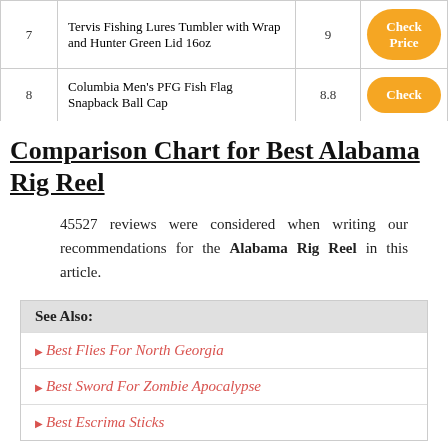| # | Product | Score | Button |
| --- | --- | --- | --- |
| 7 | Tervis Fishing Lures Tumbler with Wrap and Hunter Green Lid 16oz | 9 | Check Price |
| 8 | Columbia Men's PFG Fish Flag Snapback Ball Cap | 8.8 | Check |
Comparison Chart for Best Alabama Rig Reel
45527 reviews were considered when writing our recommendations for the Alabama Rig Reel in this article.
See Also:
Best Flies For North Georgia
Best Sword For Zombie Apocalypse
Best Escrima Sticks